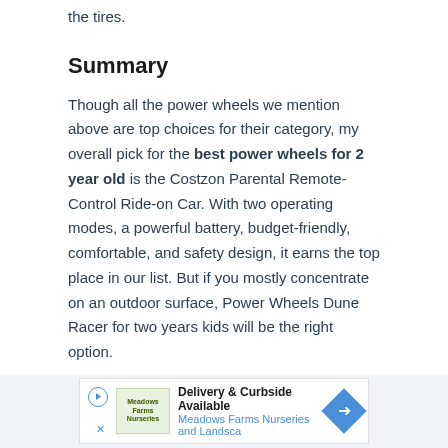the tires.
Summary
Though all the power wheels we mention above are top choices for their category, my overall pick for the best power wheels for 2 year old is the Costzon Parental Remote-Control Ride-on Car. With two operating modes, a powerful battery, budget-friendly, comfortable, and safety design, it earns the top place in our list. But if you mostly concentrate on an outdoor surface, Power Wheels Dune Racer for two years kids will be the right option.
[Figure (other): Advertisement banner for Meadows Farms Nurseries and Landscape showing delivery and curbside available message with logo and direction arrow icon.]